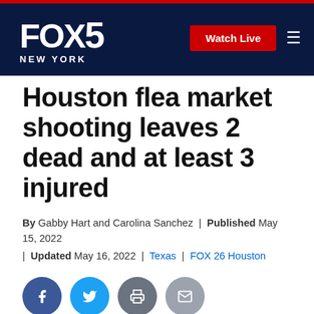FOX 5 NEW YORK | Watch Live
Houston flea market shooting leaves 2 dead and at least 3 injured
By Gabby Hart and Carolina Sanchez | Published May 15, 2022 | Updated May 16, 2022 | Texas | FOX 26 Houston
[Figure (other): Social share buttons: Facebook, Twitter, Print, Email]